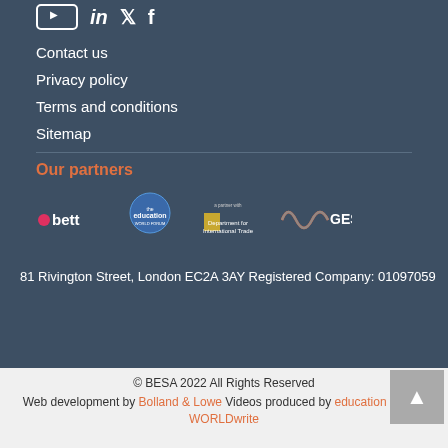[Figure (illustration): Social media icons: YouTube, LinkedIn, Twitter, Facebook in white on dark background]
Contact us
Privacy policy
Terms and conditions
Sitemap
Our partners
[Figure (logo): Partner logos: bett, Education World Forum, Department for International Trade, GESS]
81 Rivington Street, London EC2A 3AY Registered Company: 01097059
© BESA 2022 All Rights Reserved
Web development by Bolland & Lowe Videos produced by education charity WORLDwrite